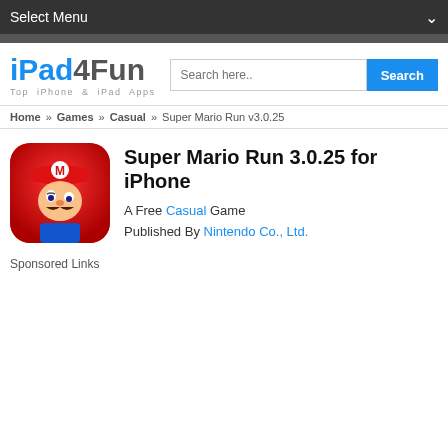Select Menu
[Figure (logo): iPad4Fun logo with text 'Top iPhone & iPad Apps']
Search here..
Home » Games » Casual » Super Mario Run v3.0.25
[Figure (illustration): Super Mario Run app icon showing Mario character with red hat and mustache]
Super Mario Run 3.0.25 for iPhone
A Free Casual Game
Published By Nintendo Co., Ltd.
Sponsored Links